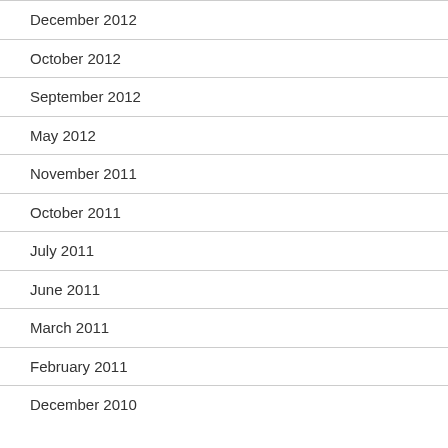December 2012
October 2012
September 2012
May 2012
November 2011
October 2011
July 2011
June 2011
March 2011
February 2011
December 2010